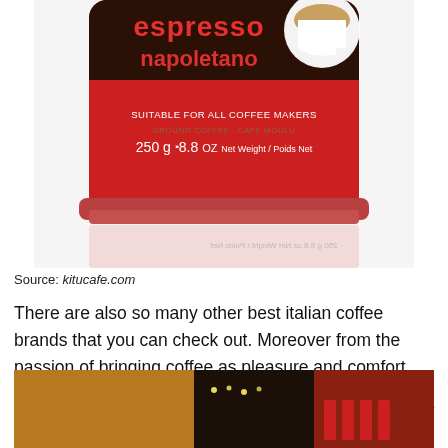[Figure (photo): Close-up of a red espresso napoletano coffee can showing label text: SUITABLE FOR ALL COFFEE MAKERS, GROUND COFFEE - CAFE MOULU, 250g 8.8 OZ Net Weight / Poids Net. Bottom portion shows reflection.]
Source: kitucafe.com
There are also so many other best italian coffee brands that you can check out. Moreover from the passion of bringing coffee as pleasure and comfort into everyone's home.
[Figure (photo): Bottom portion of a warm-toned photo showing what appears to be a bar or cafe interior with lights and red accents.]